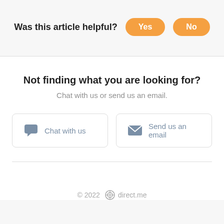Was this article helpful?
Not finding what you are looking for?
Chat with us or send us an email.
Chat with us
Send us an email
© 2022  direct.me